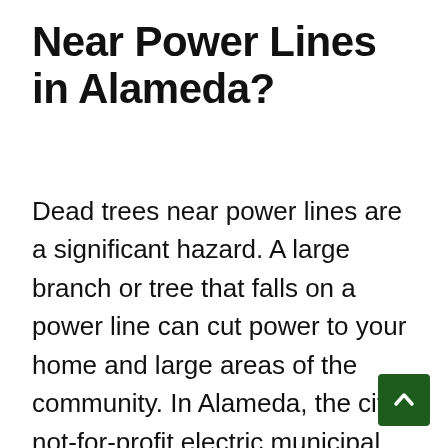Near Power Lines in Alameda?
Dead trees near power lines are a significant hazard. A large branch or tree that falls on a power line can cut power to your home and large areas of the community. In Alameda, the city's not-for-profit electric municipal utility, Alameda Municipal Power, has provided service to residents of the city for over 130 years. Alameda Municipal Power is responsible for protecting the community by removing dead trees and maintaining trees and